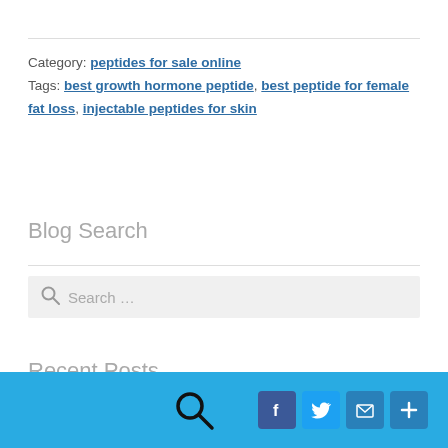Category: peptides for sale online
Tags: best growth hormone peptide, best peptide for female fat loss, injectable peptides for skin
Blog Search
Search …
Recent Posts
[Figure (other): Blue footer bar with search icon and social media buttons (Facebook, Twitter, Email, Share)]